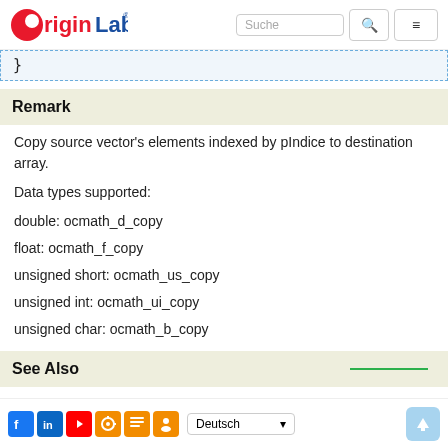OriginLab
}
Remark
Copy source vector's elements indexed by pIndice to destination array.
Data types supported:
double: ocmath_d_copy
float: ocmath_f_copy
unsigned short: ocmath_us_copy
unsigned int: ocmath_ui_copy
unsigned char: ocmath_b_copy
See Also
Deutsch